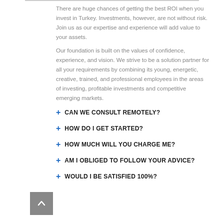There are huge chances of getting the best ROI when you invest in Turkey. Investments, however, are not without risk. Join us as our expertise and experience will add value to your assets.
Our foundation is built on the values of confidence, experience, and vision. We strive to be a solution partner for all your requirements by combining its young, energetic, creative, trained, and professional employees in the areas of investing, profitable investments and competitive emerging markets.
+ CAN WE CONSULT REMOTELY?
+ HOW DO I GET STARTED?
+ HOW MUCH WILL YOU CHARGE ME?
+ AM I OBLIGED TO FOLLOW YOUR ADVICE?
+ WOULD I BE SATISFIED 100%?